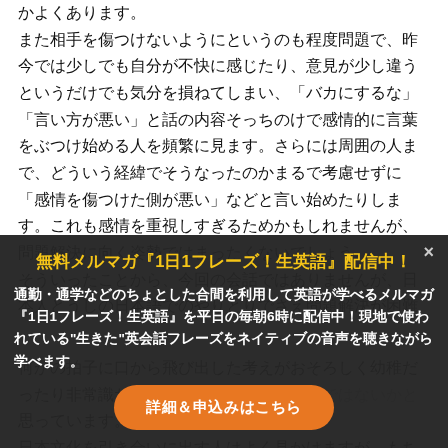かよくあります。
また相手を傷つけないようにというのも程度問題で、昨今では少しでも自分が不快に感じたり、意見が少し違うというだけでも気分を損ねてしまい、「バカにするな」「言い方が悪い」と話の内容そっちのけで感情的に言葉をぶつけ始める人を頻繁に見ます。さらには周囲の人まで、どういう経緯でそうなったのかまるで考慮せずに「感情を傷つけた側が悪い」などと言い始めたりします。これも感情を重視しすぎるためかもしれませんが、問題解決に向く姿勢ではまったくないでしょう。

そういったことから、今回の会話ではありませんが、日本人どうしの日本語でのやりとりでさえ問題解決が困難
[Figure (infographic): Dark modal overlay advertising a free email newsletter '1日1フレーズ！生英語' (1 phrase a day! Real English). Contains title in yellow, body text in white, and an orange CTA button '詳細＆申込みはこちら' (Details & Apply here). Close button (×) in top right.]
何かの拍子に口から飛び出した考えがおそろしく幼稚だったり非常識だったりするのは、そのためではないかと思っています。
日本文化を引き合いに出す人はよく見かけますが、もち